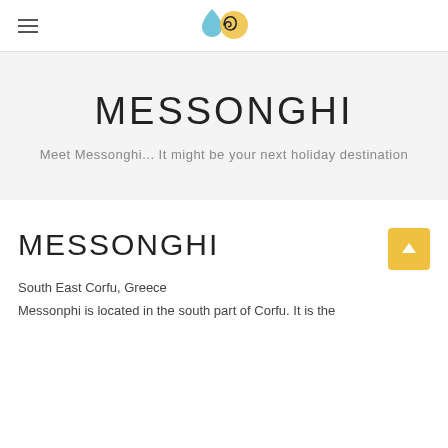[Figure (logo): Decorative logo consisting of a blue teardrop, a spiral, and a yellow circle overlapping each other]
MESSONGHI
Meet Messonghi... It might be your next holiday destination
MESSONGHI
South East Corfu, Greece
Messonphi is located in the south part of Corfu. It is the